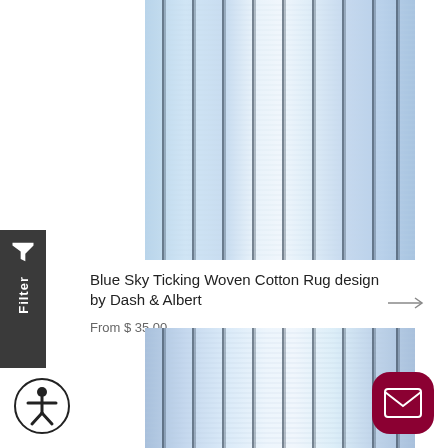[Figure (photo): Blue Sky Ticking Woven Cotton Rug product image - top view showing blue and white striped woven rug with dark pinstripes]
Blue Sky Ticking Woven Cotton Rug design by Dash & Albert
From $ 35.00
[Figure (photo): Blue Sky Ticking Woven Cotton Rug product image - second view showing the same rug in a flatter/wider orientation]